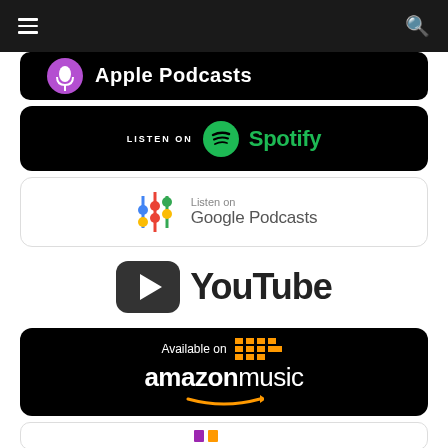[Figure (screenshot): Navigation bar with hamburger menu icon on left and search icon on right, dark background]
[Figure (logo): Apple Podcasts badge - black rounded rectangle with purple icon and Apple Podcasts text]
[Figure (logo): Listen on Spotify badge - black rounded rectangle with green Spotify logo and text]
[Figure (logo): Listen on Google Podcasts badge - white rounded rectangle with colorful Google Podcasts icon and text]
[Figure (logo): YouTube logo - dark play button icon and YouTube text in dark color]
[Figure (logo): Available on Amazon Music badge - black rounded rectangle with amazon music logo and orange equalizer icon]
[Figure (logo): Partial badge at bottom, partially visible]